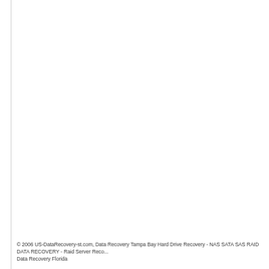© 2006 US-DataRecovery-st.com, Data Recovery Tampa Bay Hard Drive Recovery - NAS SATA SAS RAID DATA RECOVERY - Raid Server Reco... Data Recovery Florida